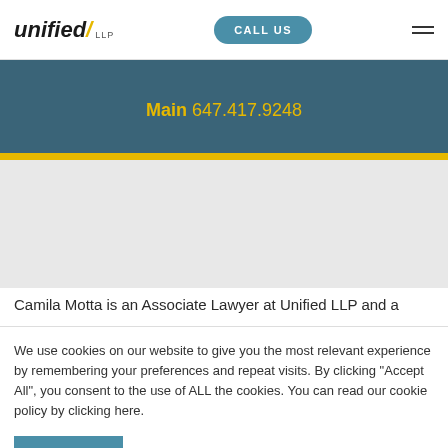unified/ LLP | CALL US
Main 647.417.9248
Camila Motta is an Associate Lawyer at Unified LLP and a
We use cookies on our website to give you the most relevant experience by remembering your preferences and repeat visits. By clicking “Accept All”, you consent to the use of ALL the cookies. You can read our cookie policy by clicking here.
Accept All